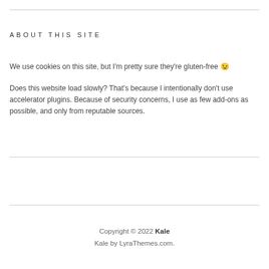ABOUT THIS SITE
We use cookies on this site, but I'm pretty sure they're gluten-free 😉
Does this website load slowly?  That's because I intentionally don't use accelerator plugins. Because of security concerns, I use as few add-ons as possible, and only from reputable sources.
Copyright © 2022 Kale
Kale by LyraThemes.com.